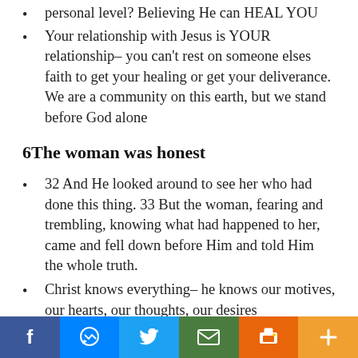personal level? Believing He can HEAL YOU
Your relationship with Jesus is YOUR relationship– you can't rest on someone elses faith to get your healing or get your deliverance. We are a community on this earth, but we stand before God alone
6The woman was honest
32 And He looked around to see her who had done this thing. 33 But the woman, fearing and trembling, knowing what had happened to her, came and fell down before Him and told Him the whole truth.
Christ knows everything– he knows our motives, our hearts, our thoughts, our desires
When Christ looked around– he knew exactly